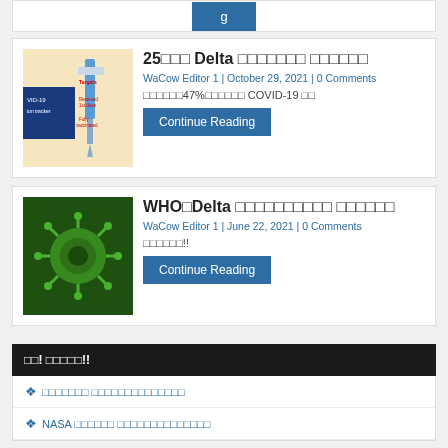[Figure (other): Partial view of a Continue Reading button at top of page]
25□□□ Delta □□□□□□□ □□□□□□
WaCow Editor 1 | October 29, 2021 | 0 Comments
[Figure (photo): COVID-19 vaccination tracker infographic with syringe on yellow background showing Targets, Received 1st dose, Fully vaccinated]
□□□□□□47%□□□□□□ COVID-19 □□
Continue Reading
WHO□Delta □□□□□□□□□□ □□□□□□
WaCow Editor 1 | June 22, 2021 | 0 Comments
[Figure (photo): Green coronavirus cell on dark green background]
□□□□□□!!
Continue Reading
□□! □□□□□!!
□□□□□□□ □□□□□□□□□□□□□□
NASA □□□□□□ □□□□□□□□□□□□□□